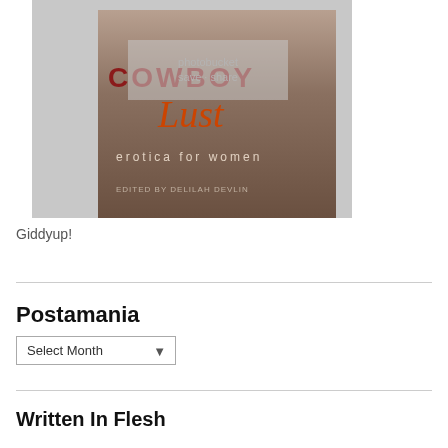[Figure (photo): Book cover for 'Cowboy Lust: Erotica for Women' edited by Delilah Devlin, with a Photobucket watermark overlay on a sepia-toned image]
Giddyup!
Postamania
Select Month (dropdown)
Written In Flesh